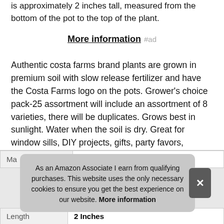is approximately 2 inches tall, measured from the bottom of the pot to the top of the plant.
More information #ad
Authentic costa farms brand plants are grown in premium soil with slow release fertilizer and have the Costa Farms logo on the pots. Grower's choice pack-25 assortment will include an assortment of 8 varieties, there will be duplicates. Grows best in sunlight. Water when the soil is dry. Great for window sills, DIY projects, gifts, party favors, wedding favors and decorations.
|  |  |
| --- | --- |
| Ma |  |
| Length | 2 Inches |
As an Amazon Associate I earn from qualifying purchases. This website uses the only necessary cookies to ensure you get the best experience on our website. More information